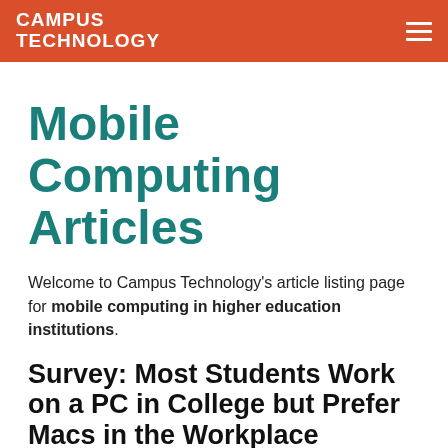CAMPUS TECHNOLOGY
Mobile Computing Articles
Welcome to Campus Technology's article listing page for mobile computing in higher education institutions.
Survey: Most Students Work on a PC in College but Prefer Macs in the Workplace
A majority of students prefer Apple's Mac and view organizations that